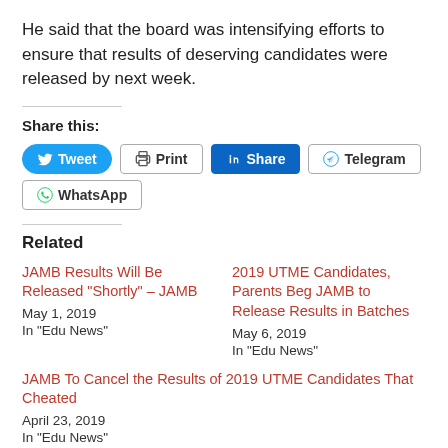He said that the board was intensifying efforts to ensure that results of deserving candidates were released by next week.
Share this:
Tweet | Print | Share | Telegram | WhatsApp (social share buttons)
Related
JAMB Results Will Be Released “Shortly” – JAMB
May 1, 2019
In "Edu News"
2019 UTME Candidates, Parents Beg JAMB to Release Results in Batches
May 6, 2019
In "Edu News"
JAMB To Cancel the Results of 2019 UTME Candidates That Cheated
April 23, 2019
In "Edu News"